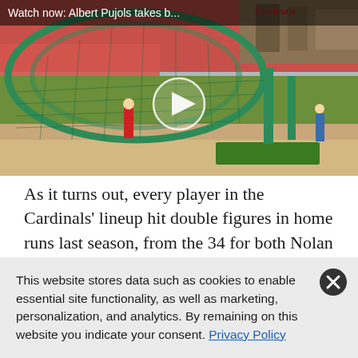[Figure (screenshot): Video thumbnail of Albert Pujols taking batting practice at a Cardinals stadium. Green batting cage nets visible, stadium seats in background. Video title bar at top reads 'Watch now: Albert Pujols takes b...' with a play button overlay in the center.]
As it turns out, every player in the Cardinals' lineup hit double figures in home runs last season, from the 34 for both Nolan Arenado and Tyler O'Neill to the
This website stores data such as cookies to enable essential site functionality, as well as marketing, personalization, and analytics. By remaining on this website you indicate your consent. Privacy Policy